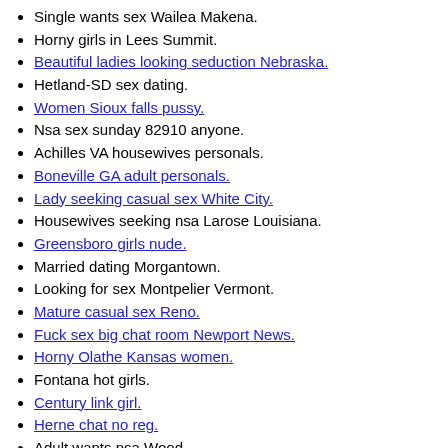Single wants sex Wailea Makena.
Horny girls in Lees Summit.
Beautiful ladies looking seduction Nebraska.
Hetland-SD sex dating.
Women Sioux falls pussy.
Nsa sex sunday 82910 anyone.
Achilles VA housewives personals.
Boneville GA adult personals.
Lady seeking casual sex White City.
Housewives seeking nsa Larose Louisiana.
Greensboro girls nude.
Married dating Morgantown.
Looking for sex Montpelier Vermont.
Mature casual sex Reno.
Fuck sex big chat room Newport News.
Horny Olathe Kansas women.
Fontana hot girls.
Century link girl.
Herne chat no reg.
Adult wants nsa Wood.
Girlfriend lets hang out.
Verdi NV housewives personals.
Matchmaking san jose ca.
Im looking for a valentine.